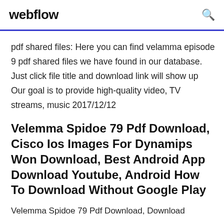webflow
pdf shared files: Here you can find velamma episode 9 pdf shared files we have found in our database. Just click file title and download link will show up Our goal is to provide high-quality video, TV streams, music 2017/12/12
Velemma Spidoe 79 Pdf Download, Cisco Ios Images For Dynamips Won Download, Best Android App Download Youtube, Android How To Download Without Google Play
Velemma Spidoe 79 Pdf Download, Download